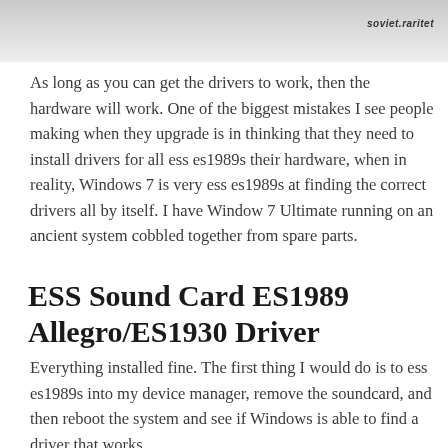[Figure (photo): Partial photo of an object, light grey background with a rounded white shape visible. Watermark 'soviet.raritet' in bottom right of image.]
As long as you can get the drivers to work, then the hardware will work. One of the biggest mistakes I see people making when they upgrade is in thinking that they need to install drivers for all ess es1989s their hardware, when in reality, Windows 7 is very ess es1989s at finding the correct drivers all by itself. I have Window 7 Ultimate running on an ancient system cobbled together from spare parts.
ESS Sound Card ES1989 Allegro/ES1930 Driver
Everything installed fine. The first thing I would do is to ess es1989s into my device manager, remove the soundcard, and then reboot the system and see if Windows is able to find a driver that works.